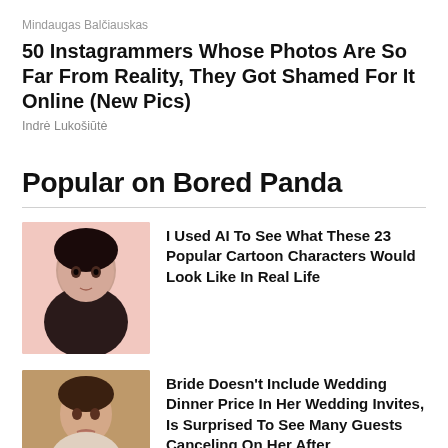Mindaugas Balčiauskas
50 Instagrammers Whose Photos Are So Far From Reality, They Got Shamed For It Online (New Pics)
Indrė Lukošiūtė
Popular on Bored Panda
[Figure (photo): Portrait of an AI-generated cartoon character rendered as a real person — a young woman with long dark hair against a pink background]
I Used AI To See What These 23 Popular Cartoon Characters Would Look Like In Real Life
[Figure (photo): Photo of a woman with an open mouth expression, appearing surprised or upset, at what appears to be a wedding or event venue]
Bride Doesn't Include Wedding Dinner Price In Her Wedding Invites, Is Surprised To See Many Guests Canceling On Her After